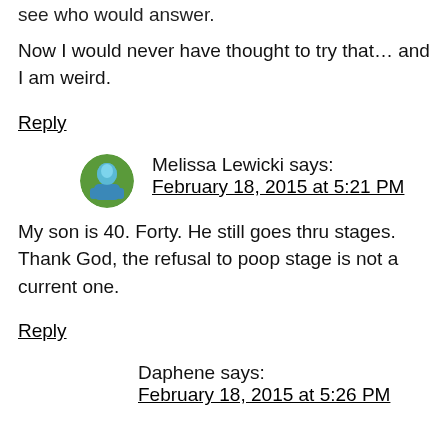Now I would never have thought to try that… and I am weird.
Reply
Melissa Lewicki says:
February 18, 2015 at 5:21 PM
My son is 40. Forty. He still goes thru stages. Thank God, the refusal to poop stage is not a current one.
Reply
Daphene says:
February 18, 2015 at 5:26 PM